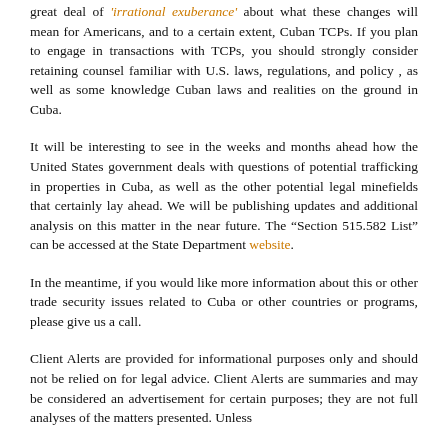great deal of 'irrational exuberance' about what these changes will mean for Americans, and to a certain extent, Cuban TCPs. If you plan to engage in transactions with TCPs, you should strongly consider retaining counsel familiar with U.S. laws, regulations, and policy , as well as some knowledge Cuban laws and realities on the ground in Cuba.
It will be interesting to see in the weeks and months ahead how the United States government deals with questions of potential trafficking in properties in Cuba, as well as the other potential legal minefields that certainly lay ahead. We will be publishing updates and additional analysis on this matter in the near future. The "Section 515.582 List" can be accessed at the State Department website.
In the meantime, if you would like more information about this or other trade security issues related to Cuba or other countries or programs, please give us a call.
Client Alerts are provided for informational purposes only and should not be relied on for legal advice. Client Alerts are summaries and may be considered an advertisement for certain purposes; they are not full analyses of the matters presented. Unless